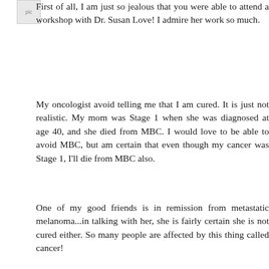[Figure (other): Small avatar/user icon placeholder image]
First of all, I am just so jealous that you were able to attend a workshop with Dr. Susan Love! I admire her work so much.
My oncologist avoid telling me that I am cured. It is just not realistic. My mom was Stage 1 when she was diagnosed at age 40, and she died from MBC. I would love to be able to avoid MBC, but am certain that even though my cancer was Stage 1, I'll die from MBC also.
One of my good friends is in remission from metastatic melanoma...in talking with her, she is fairly certain she is not cured either. So many people are affected by this thing called cancer!
Reply
Jenny (jaydub26) May 14, 2011 at 7:57 AM
when I first looked at Army of Women when Susan put me on to it - it seemed to be more for US women - I have joined now. Hopefully there is something I can do here. I have already given my permission for all my info to be on...